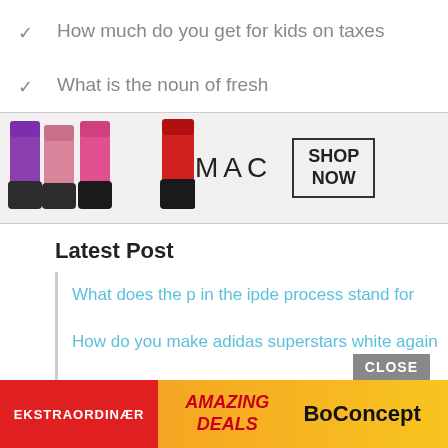How much do you get for kids on taxes
What is the noun of fresh
[Figure (photo): MAC Cosmetics advertisement banner showing colorful lipsticks with 'SHOP NOW' button]
Latest Post
What does the p in the ipde process stand for
How do you make adidas superstars white again
How do you overlay pictures in gimp
[Figure (photo): BoConcept advertisement banner with red and orange sections, text: EKSTRAORDINÆR, AMAZING DEALS, BoConcept. CLOSE button visible.]